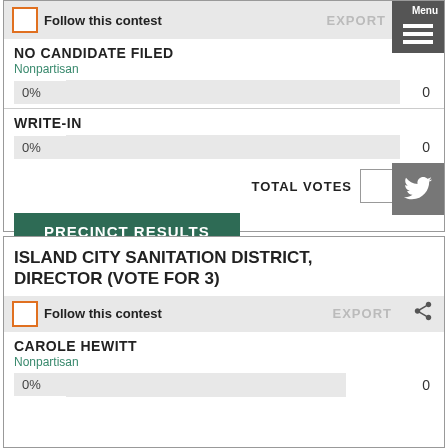Follow this contest
NO CANDIDATE FILED
Nonpartisan
0%   0
WRITE-IN
Nonpartisan
0%   0
TOTAL VOTES   0
PRECINCT RESULTS
ISLAND CITY SANITATION DISTRICT, DIRECTOR (VOTE FOR 3)
Follow this contest
CAROLE HEWITT
Nonpartisan
0%   0